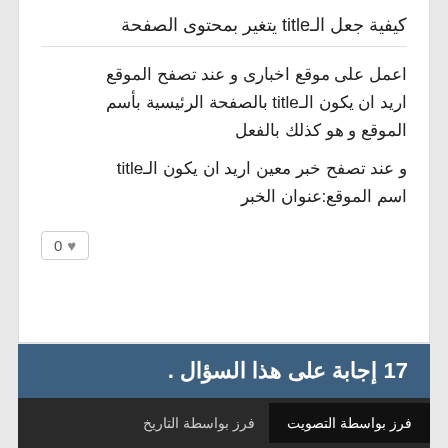كيفية جعل الـtitle يتغير بمحتوى الصفحة
اعمل على موقع اخبارى و عند تصفح الموقع اريد ان يكون الـtitle بالصفحة الرئيسية بأسم الموقع و هو كذلك بالفعل
و عند تصفح خبر معين اريد ان يكون الـtitle اسم الموقع:عنوان الخبر
0 ♥
17 إجابة على هذا السؤال .
فرز بواسطة التاريخ   فرز بواسطة التصويت